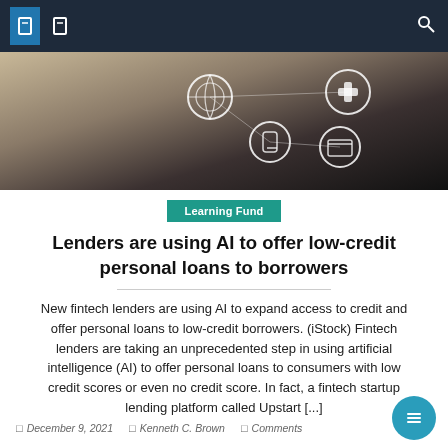Navigation bar with icons
[Figure (photo): Hero image showing a person holding a phone with floating digital icons (globe, medical, phone, card) on a blurred background]
Learning Fund
Lenders are using AI to offer low-credit personal loans to borrowers
New fintech lenders are using AI to expand access to credit and offer personal loans to low-credit borrowers. (iStock) Fintech lenders are taking an unprecedented step in using artificial intelligence (AI) to offer personal loans to consumers with low credit scores or even no credit score. In fact, a fintech startup lending platform called Upstart [...]
December 9, 2021   Kenneth C. Brown   Comments Off